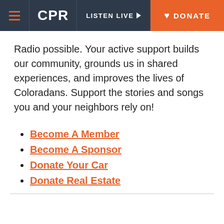CPR | LISTEN LIVE | DONATE
Radio possible. Your active support builds our community, grounds us in shared experiences, and improves the lives of Coloradans. Support the stories and songs you and your neighbors rely on!
Become A Member
Become A Sponsor
Donate Your Car
Donate Real Estate